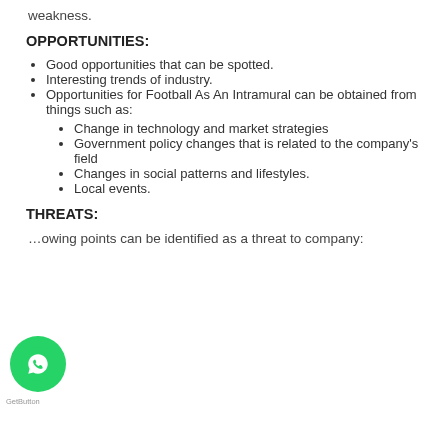weakness.
OPPORTUNITIES:
Good opportunities that can be spotted.
Interesting trends of industry.
Opportunities for Football As An Intramural can be obtained from things such as:
Change in technology and market strategies
Government policy changes that is related to the company's field
Changes in social patterns and lifestyles.
Local events.
THREATS:
…owing points can be identified as a threat to company: